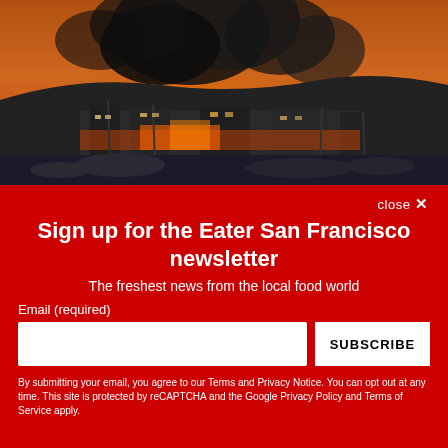[Figure (photo): Aerial/distant photo of a large fire at a harbor or marina at night, with large plumes of black smoke rising into an orange sky, buildings and boat masts visible in the foreground]
close ✕
Sign up for the Eater San Francisco newsletter
The freshest news from the local food world
Email (required)
SUBSCRIBE
By submitting your email, you agree to our Terms and Privacy Notice. You can opt out at any time. This site is protected by reCAPTCHA and the Google Privacy Policy and Terms of Service apply.